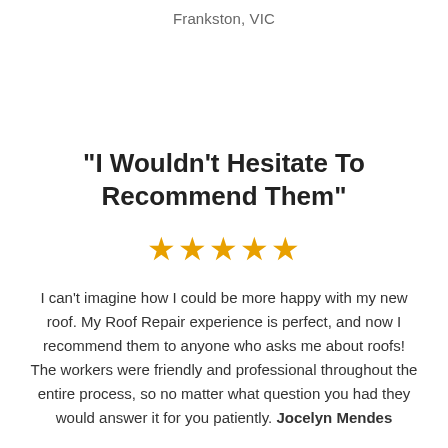Frankston, VIC
"I Wouldn't Hesitate To Recommend Them"
[Figure (other): Five gold star rating icons]
I can't imagine how I could be more happy with my new roof. My Roof Repair experience is perfect, and now I recommend them to anyone who asks me about roofs! The workers were friendly and professional throughout the entire process, so no matter what question you had they would answer it for you patiently. Jocelyn Mendes